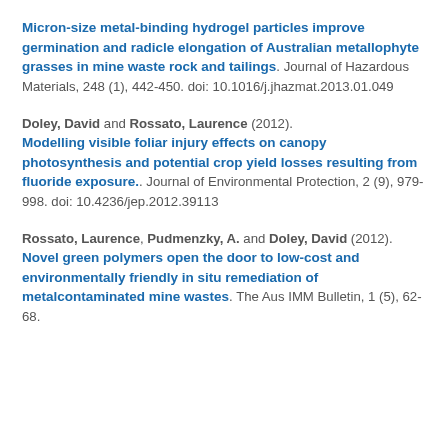Micron-size metal-binding hydrogel particles improve germination and radicle elongation of Australian metallophyte grasses in mine waste rock and tailings. Journal of Hazardous Materials, 248 (1), 442-450. doi: 10.1016/j.jhazmat.2013.01.049
Doley, David and Rossato, Laurence (2012). Modelling visible foliar injury effects on canopy photosynthesis and potential crop yield losses resulting from fluoride exposure.. Journal of Environmental Protection, 2 (9), 979-998. doi: 10.4236/jep.2012.39113
Rossato, Laurence, Pudmenzky, A. and Doley, David (2012). Novel green polymers open the door to low-cost and environmentally friendly in situ remediation of metalcontaminated mine wastes. The Aus IMM Bulletin, 1 (5), 62-68.